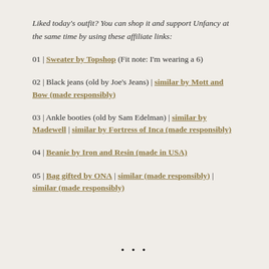Liked today's outfit? You can shop it and support Unfancy at the same time by using these affiliate links:
01 | Sweater by Topshop (Fit note: I'm wearing a 6)
02 | Black jeans (old by Joe's Jeans) | similar by Mott and Bow (made responsibly)
03 | Ankle booties (old by Sam Edelman) | similar by Madewell | similar by Fortress of Inca (made responsibly)
04 | Beanie by Iron and Resin (made in USA)
05 | Bag gifted by ONA | similar (made responsibly) | similar (made responsibly)
• • •